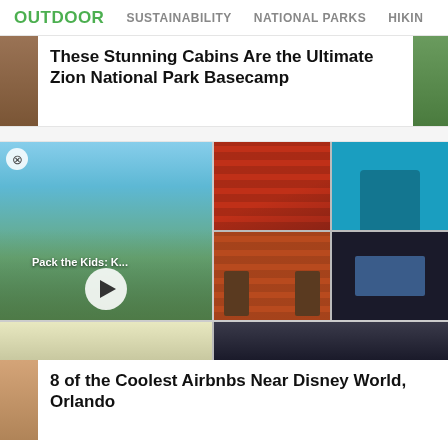OUTDOOR  SUSTAINABILITY  NATIONAL PARKS  HIKING
These Stunning Cabins Are the Ultimate Zion National Park Basecamp
[Figure (screenshot): Media grid with a video thumbnail of people jumping outdoors labeled 'Pack the Kids: K...' with a play button, and three smaller images showing arcade games, brick wall interior, and futuristic room with slide]
8 of the Coolest Airbnbs Near Disney World, Orlando